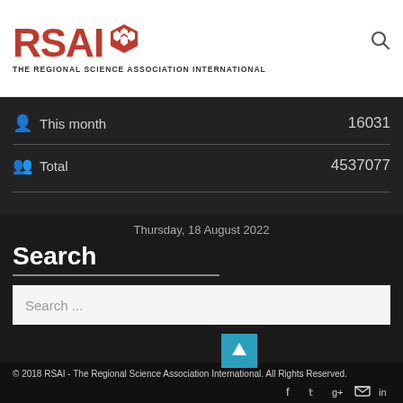RSAI - THE REGIONAL SCIENCE ASSOCIATION INTERNATIONAL
This month   16031
Total   4537077
Thursday, 18 August 2022
Search
Search ...
© 2018 RSAI - The Regional Science Association International. All Rights Reserved.